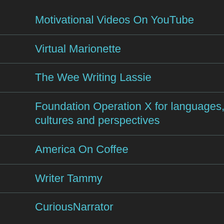Motivational Videos On YouTube
Virtual Marionette
The Wee Writing Lassie
Foundation Operation X for languages, cultures and perspectives
America On Coffee
Writer Tammy
CuriousNarrator